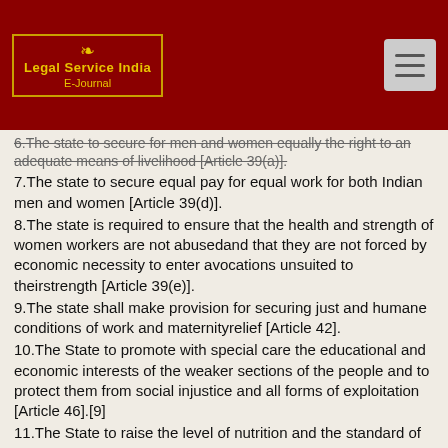Legal Service India E-Journal
6.The state to secure for men and women equally the right to an adequate means of livelihood [Article 39(a)].
7.The state to secure equal pay for equal work for both Indian men and women [Article 39(d)].
8.The state is required to ensure that the health and strength of women workers are not abusedand that they are not forced by economic necessity to enter avocations unsuited to theirstrength [Article 39(e)].
9.The state shall make provision for securing just and humane conditions of work and maternityrelief [Article 42].
10.The State to promote with special care the educational and economic interests of the weaker sections of the people and to protect them from social injustice and all forms of exploitation [Article 46].[9]
11.The State to raise the level of nutrition and the standard of living of its people [Article 47].[10]
12.It shall be the duty of every citizen of India to renounce practices derogatory to the dignity ofwomen [Article 51-